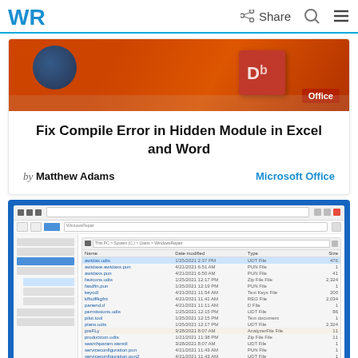WR | Share [search icon] [menu icon]
[Figure (photo): Microsoft Office app icon showing orange/red Office logo tile on a laptop or tablet surface]
Fix Compile Error in Hidden Module in Excel and Word
by Matthew Adams   Microsoft Office
[Figure (screenshot): Windows File Explorer screenshot showing WindowsRepair directory with list of system files and folders]